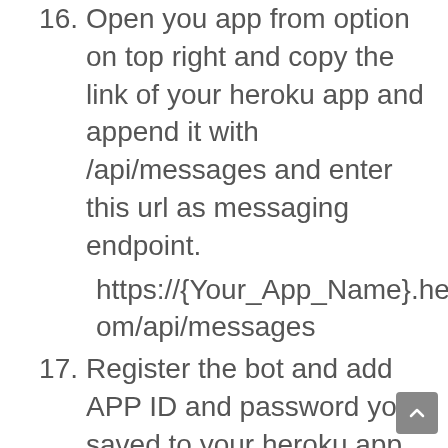16. Open you app from option on top right and copy the link of your heroku app and append it with /api/messages and enter this url as messaging endpoint.
https://{Your_App_Name}.herokuapp.com/api/messages
17. Register the bot and add APP ID and password you saved to your heroku app in settings->config variables.
18. Now go to https://dev.botframework.com/. and then in My Bots go to your bot and click on Skype bot then add it to contact and start chatting.
19. You can connect same bot to different channels like kik, slack, telegram